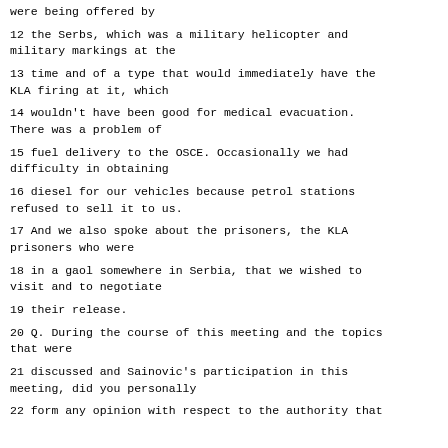were being offered by
12 the Serbs, which was a military helicopter and military markings at the
13 time and of a type that would immediately have the KLA firing at it, which
14 wouldn't have been good for medical evacuation. There was a problem of
15 fuel delivery to the OSCE. Occasionally we had difficulty in obtaining
16 diesel for our vehicles because petrol stations refused to sell it to us.
17 And we also spoke about the prisoners, the KLA prisoners who were
18 in a gaol somewhere in Serbia, that we wished to visit and to negotiate
19 their release.
20 Q. During the course of this meeting and the topics that were
21 discussed and Sainovic's participation in this meeting, did you personally
22 form any opinion with respect to the authority that